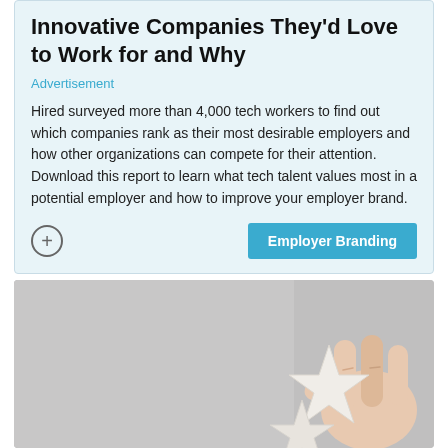Innovative Companies They'd Love to Work for and Why
Advertisement
Hired surveyed more than 4,000 tech workers to find out which companies rank as their most desirable employers and how other organizations can compete for their attention. Download this report to learn what tech talent values most in a potential employer and how to improve your employer brand.
Employer Branding
[Figure (photo): Hand holding a star-shaped object against a gray background]